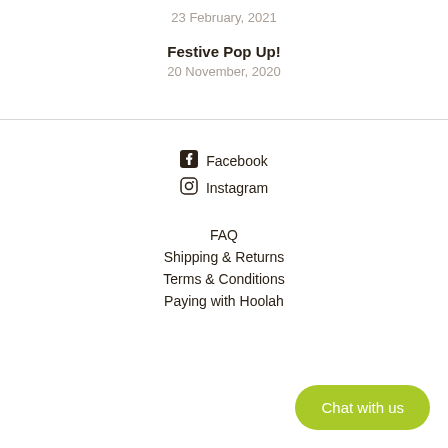23 February, 2021
Festive Pop Up!
20 November, 2020
Facebook
Instagram
FAQ
Shipping & Returns
Terms & Conditions
Paying with Hoolah
Chat with us